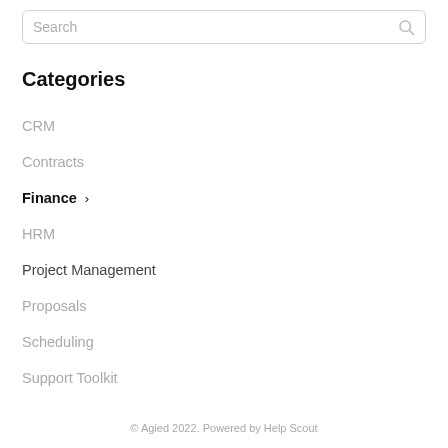Search
Categories
CRM
Contracts
Finance >
HRM
Project Management
Proposals
Scheduling
Support Toolkit
© Agied 2022. Powered by Help Scout